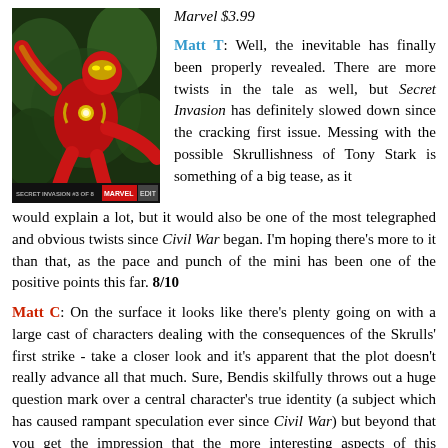[Figure (illustration): Comic book cover art showing Iron Man (red armored figure) in a dynamic pose against a dark green background. Text at bottom reads 'SECRET INVASION #3 OF 8' and 'MARVEL' logo with price tag.]
Marvel $3.99
Matt T: Well, the inevitable has finally been properly revealed. There are more twists in the tale as well, but Secret Invasion has definitely slowed down since the cracking first issue. Messing with the possible Skrullishness of Tony Stark is something of a big tease, as it would explain a lot, but it would also be one of the most telegraphed and obvious twists since Civil War began. I'm hoping there's more to it than that, as the pace and punch of the mini has been one of the positive points this far. 8/10
Matt C: On the surface it looks like there's plenty going on with a large cast of characters dealing with the consequences of the Skrulls' first strike - take a closer look and it's apparent that the plot doesn't really advance all that much. Sure, Bendis skilfully throws out a huge question mark over a central character's true identity (a subject which has caused rampant speculation ever since Civil War) but beyond that you get the impression that the more interesting aspects of this company-wide crossover are being